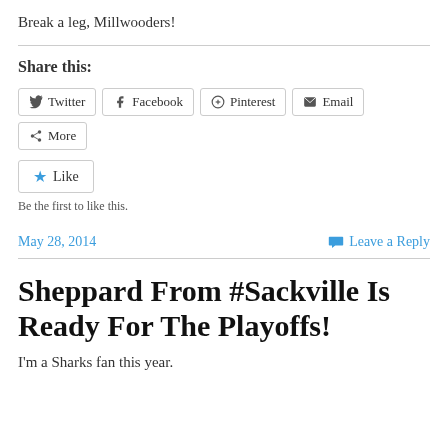Break a leg, Millwooders!
Share this:
[Figure (infographic): Social sharing buttons: Twitter, Facebook, Pinterest, Email, More; and a Like button]
Be the first to like this.
May 28, 2014
Leave a Reply
Sheppard From #Sackville Is Ready For The Playoffs!
I'm a Sharks fan this year.